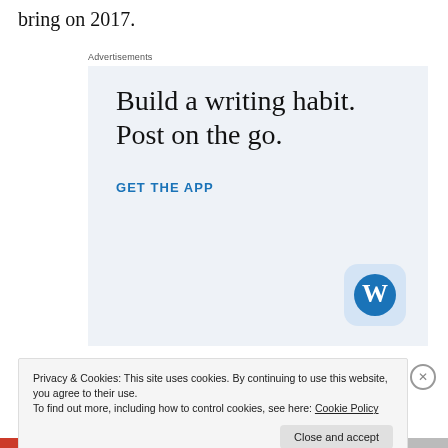bring on 2017.
Advertisements
[Figure (illustration): WordPress advertisement: 'Build a writing habit. Post on the go.' with GET THE APP call to action and WordPress logo icon]
Privacy & Cookies: This site uses cookies. By continuing to use this website, you agree to their use.
To find out more, including how to control cookies, see here: Cookie Policy
Close and accept